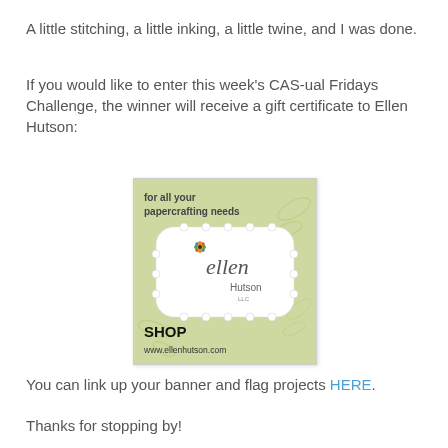A little stitching, a little inking, a little twine, and I was done.
If you would like to enter this week's CAS-ual Fridays Challenge, the winner will receive a gift certificate to Ellen Hutson:
[Figure (logo): Ellen Hutson LLC shop advertisement banner on green background with decorative badge logo, text 'for all your papercrafting needs', 'SHOP', 'www.ellenhutson.com']
You can link up your banner and flag projects HERE.
Thanks for stopping by!